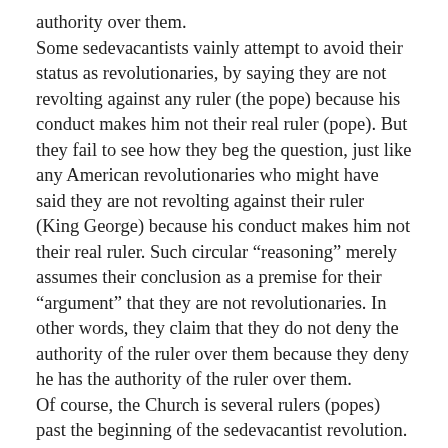authority over them.
Some sedevacantists vainly attempt to avoid their status as revolutionaries, by saying they are not revolting against any ruler (the pope) because his conduct makes him not their real ruler (pope). But they fail to see how they beg the question, just like any American revolutionaries who might have said they are not revolting against their ruler (King George) because his conduct makes him not their real ruler. Such circular “reasoning” merely assumes their conclusion as a premise for their “argument” that they are not revolutionaries. In other words, they claim that they do not deny the authority of the ruler over them because they deny he has the authority of the ruler over them.
Of course, the Church is several rulers (popes) past the beginning of the sedevacantist revolution. Having revolted against Pope John XXIII, sedevacantists now take as a “matter of course” the rejection of the current